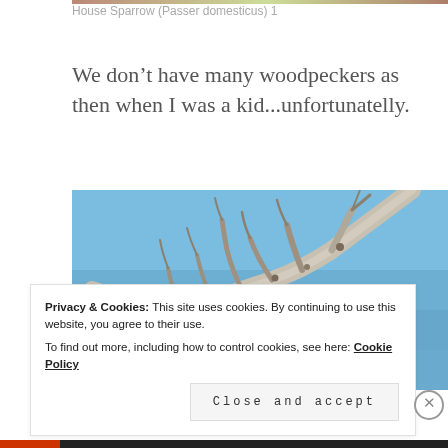House Sparrow (Passer domesticus) 1
We don’t have many woodpeckers as then when I was a kid...unfortunatelly.
[Figure (photo): Bare tree branches against a blue sky, close-up photograph of grey-white branches with small dark buds, slight blur in background.]
Privacy & Cookies: This site uses cookies. By continuing to use this website, you agree to their use.
To find out more, including how to control cookies, see here: Cookie Policy
Close and accept